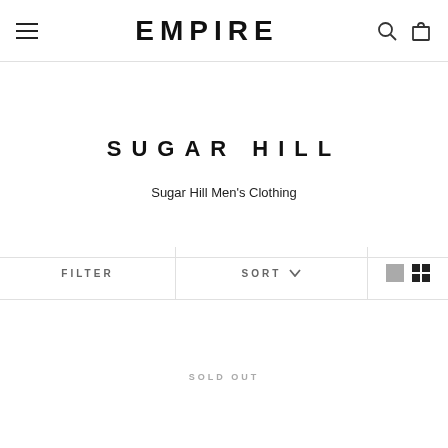EMPIRE
SUGAR HILL
Sugar Hill Men's Clothing
FILTER   SORT   [view toggle icons]
SOLD OUT